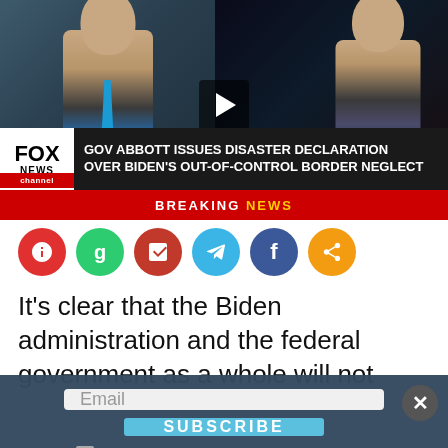[Figure (screenshot): Fox News video thumbnail showing Gov. Abbott and Sean Hannity side by side in a split screen, with Fox News banner reading 'GOV ABBOTT ISSUES DISASTER DECLARATION OVER BIDEN'S OUT-OF-CONTROL BORDER NEGLECT' and a red Breaking News bar]
[Figure (infographic): Row of 6 social media sharing icon circles: red (i), green (g), dark red (P), light blue (Telegram arrow), blue (f), orange (share)]
It's clear that the Biden administration and the federal government as a whole will not
Email
Subscribe
By continuing, you accept the privacy policy